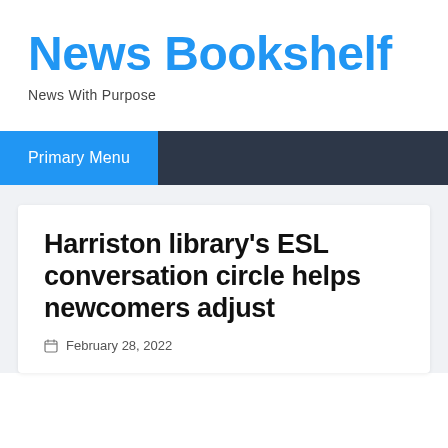News Bookshelf
News With Purpose
Primary Menu
Harriston library's ESL conversation circle helps newcomers adjust
February 28, 2022